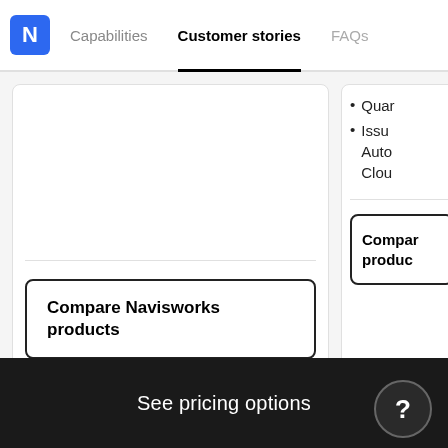N | Capabilities | Customer stories | FAQs
Quar
Issu Auto Clou
Compare Navisworks products
Compar produc
See pricing options